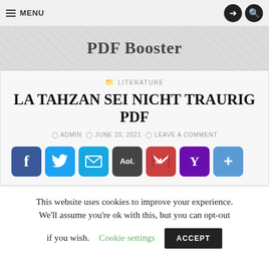MENU
PDF Booster
LITERATURE
LA TAHZAN SEI NICHT TRAURIG PDF
ADMIN  JUNE 20, 2021  LEAVE A COMMENT
[Figure (infographic): Social share buttons: Facebook, Twitter, Email, AOL, Gmail, Yahoo, More]
This website uses cookies to improve your experience. We'll assume you're ok with this, but you can opt-out if you wish. Cookie settings ACCEPT